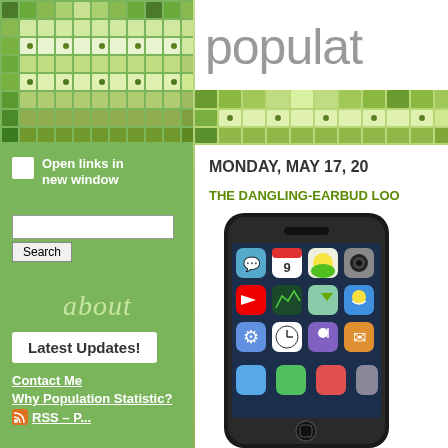[Figure (screenshot): Website screenshot showing green mosaic tile header pattern across both sidebar and main content area]
populat
Open links in new window
Search
about
Latest Updates!
Contact Me
Why Population Statistic?
MONDAY, MAY 17, 20
THE DANGLING-EARBUD LOO
[Figure (photo): iPhone 3G smartphone photo showing app icons on screen]